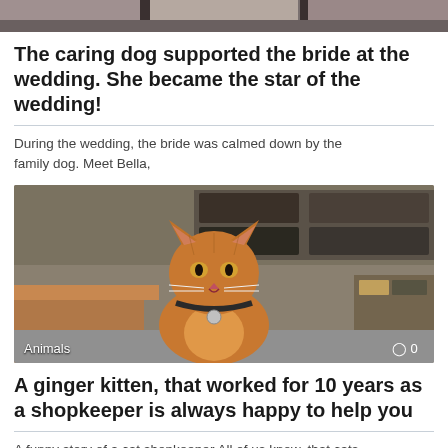[Figure (photo): Top partial photo showing a dark indoor scene, partially cropped at the top of the page]
The caring dog supported the bride at the wedding. She became the star of the wedding!
During the wedding, the bride was calmed down by the family dog. Meet Bella,
[Figure (photo): Photo of an orange/ginger cat with a collar sitting in what appears to be a shop with display cases in the background. Label 'Animals' in bottom left, comment icon '0' in bottom right.]
A ginger kitten, that worked for 10 years as a shopkeeper is always happy to help you
A funny story of a cat shopkeeper  All of us know, that cats are